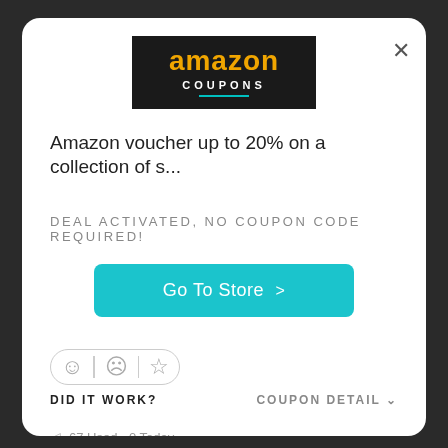[Figure (logo): Amazon Coupons logo — black background with orange 'amazon' text and white 'COUPONS' text with teal underline]
Amazon voucher up to 20% on a collection of s...
DEAL ACTIVATED, NO COUPON CODE REQUIRED!
Go To Store >
[Figure (infographic): Feedback row with smiley face, sad face, and star icons in a pill-shaped border]
DID IT WORK?
COUPON DETAIL ∨
67 Used - 0 Today